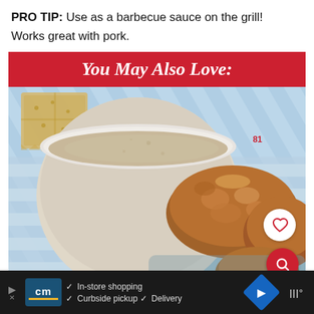PRO TIP: Use as a barbecue sauce on the grill!
Works great with pork.
You May Also Love:
[Figure (photo): Food photo showing a white bowl of creamy dipping sauce next to fried chicken pieces on a blue-striped cloth, with crackers visible. Heart and search icon overlays in bottom right.]
[Figure (screenshot): Advertisement bar at bottom: cm (Country Meats) logo with checkmarks for In-store shopping, Curbside pickup, Delivery. Blue navigation arrow icon and audio/streaming icon on right.]